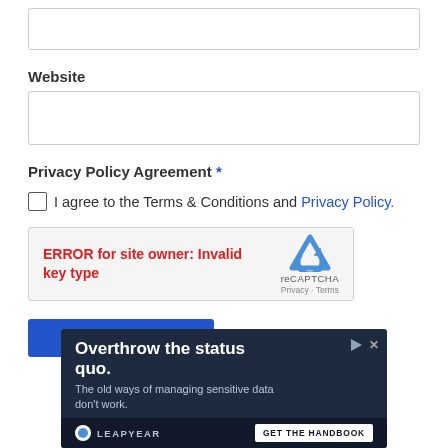Website
Privacy Policy Agreement *
I agree to the Terms & Conditions and Privacy Policy.
[Figure (other): reCAPTCHA widget showing error: ERROR for site owner: Invalid key type, with reCAPTCHA logo, Privacy and Terms links]
POST COMMENT
[Figure (infographic): Advertisement banner: Overthrow the status quo. The old ways of managing sensitive data don't work. Leapyear. GET THE HANDBOOK]